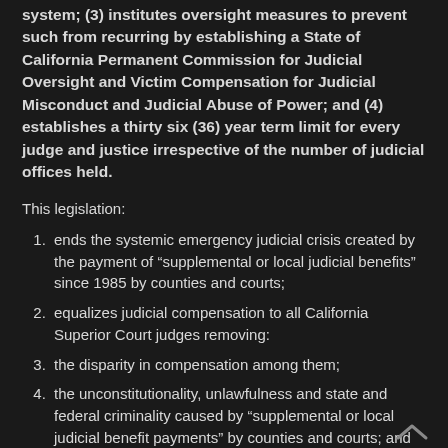system; (3) institutes oversight measures to prevent such from recurring by establishing a State of California Permanent Commission for Judicial Oversight and Victim Compensation for Judicial Misconduct and Judicial Abuse of Power; and (4) establishes a thirty six (36) year term limit for every judge and justice irrespective of the number of judicial offices held.
This legislation:
ends the systemic emergency judicial crisis created by the payment of “supplemental or local judicial benefits” since 1985 by counties and courts;
equalizes judicial compensation to all California Superior Court judges removing:
the disparity in compensation among them;
the unconstitutionality, unlawfulness and state and federal criminality caused by “supplemental or local judicial benefit payments” by counties and courts; and
the double taxation upon the county residents making the payments;